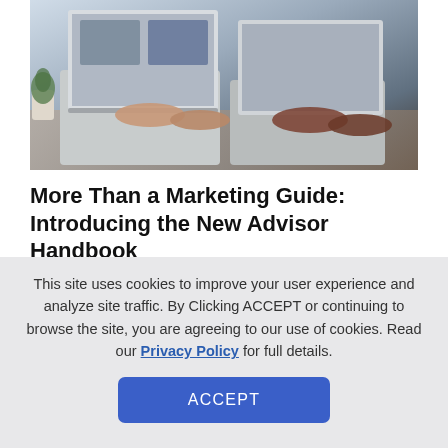[Figure (photo): Two people typing on laptops at a desk, with a video call visible on one of the laptop screens.]
More Than a Marketing Guide: Introducing the New Advisor Handbook
For several years, we've offered partners like you a
This site uses cookies to improve your user experience and analyze site traffic. By Clicking ACCEPT or continuing to browse the site, you are agreeing to our use of cookies. Read our Privacy Policy for full details.
ACCEPT